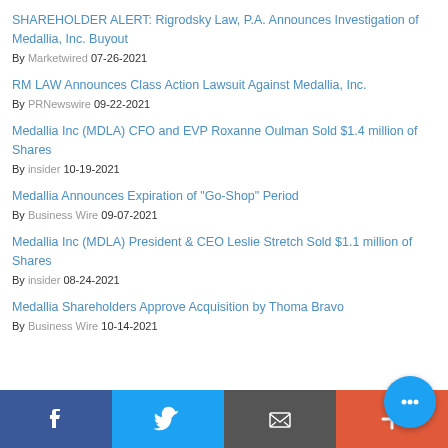SHAREHOLDER ALERT: Rigrodsky Law, P.A. Announces Investigation of Medallia, Inc. Buyout
By Marketwired 07-26-2021
RM LAW Announces Class Action Lawsuit Against Medallia, Inc.
By PRNewswire 09-22-2021
Medallia Inc (MDLA) CFO and EVP Roxanne Oulman Sold $1.4 million of Shares
By insider 10-19-2021
Medallia Announces Expiration of "Go-Shop" Period
By Business Wire 09-07-2021
Medallia Inc (MDLA) President & CEO Leslie Stretch Sold $1.1 million of Shares
By insider 08-24-2021
Medallia Shareholders Approve Acquisition by Thoma Bravo
By Business Wire 10-14-2021